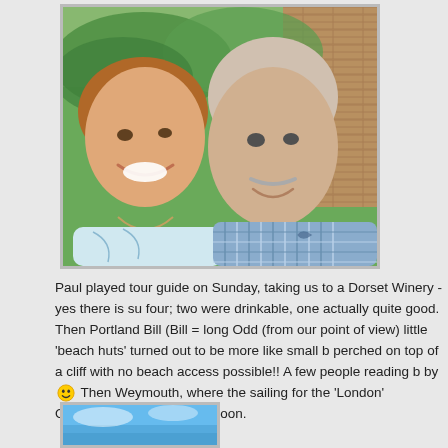[Figure (photo): A smiling couple taking a selfie outdoors. A woman with reddish-brown hair is on the left, smiling broadly. A bald/grey-haired older man in a blue checked shirt is on the right. Green trees and a brick structure in the background.]
Paul played tour guide on Sunday, taking us to a Dorset Winery - yes there is su four; two were drinkable, one actually quite good. Then Portland Bill (Bill = long Odd (from our point of view) little 'beach huts' turned out to be more like small b perched on top of a cliff with no beach access possible!! A few people reading b by 😀 Then Weymouth, where the sailing for the 'London' Olympics was held. L afternoon.
[Figure (photo): Partial view of a second photo showing blue sky and possibly a coastal or landscape scene.]